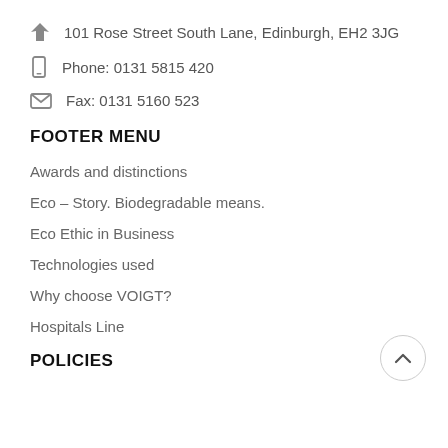101 Rose Street South Lane, Edinburgh, EH2 3JG
Phone: 0131 5815 420
Fax: 0131 5160 523
FOOTER MENU
Awards and distinctions
Eco – Story. Biodegradable means.
Eco Ethic in Business
Technologies used
Why choose VOIGT?
Hospitals Line
POLICIES